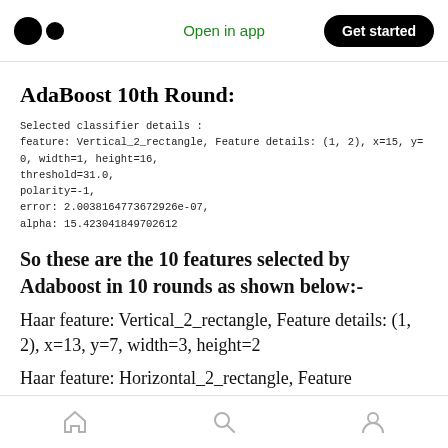Open in app | Get started
AdaBoost 10th Round:
Selected classifier details :
feature: Vertical_2_rectangle, Feature details: (1, 2), x=15, y=0, width=1, height=16,
threshold=31.0,
polarity=-1,
error: 2.0038164773672926e-07,
alpha: 15.423041849702612
So these are the 10 features selected by Adaboost in 10 rounds as shown below:-
Haar feature: Vertical_2_rectangle, Feature details: (1, 2), x=13, y=7, width=3, height=2
Haar feature: Horizontal_2_rectangle, Feature
Home | Search | Profile